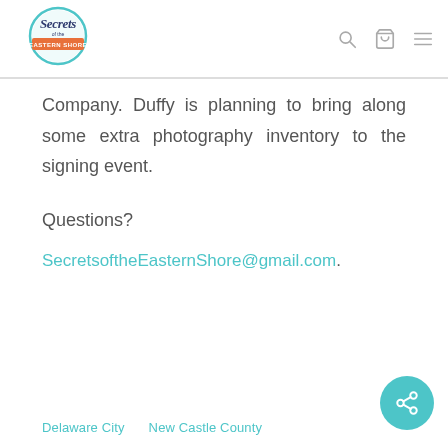Secrets of the Eastern Shore [logo with search, cart, menu icons]
Company. Duffy is planning to bring along some extra photography inventory to the signing event.
Questions?
SecretsoftheEasternShore@gmail.com.
Delaware City   New Castle County